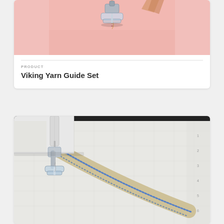[Figure (photo): Close-up photo of a sewing machine presser foot on pink fabric]
PRODUCT
Viking Yarn Guide Set
[Figure (photo): Close-up photo of a sewing machine needle and presser foot stitching a beige ribbon with blue decorative stitching on a white cutting mat]